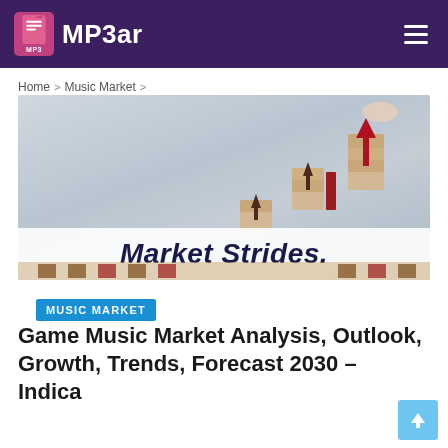MP3ar
Home > Music Market >
[Figure (photo): Market Strides branded hero image showing wooden blocks being stacked with upward arrows, representing market growth]
MUSIC MARKET
Game Music Market Analysis, Outlook, Growth, Trends, Forecast 2030 –